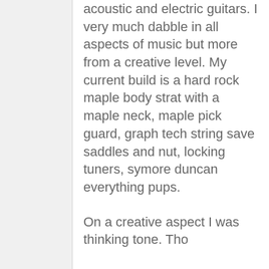acoustic and electric guitars. I very much dabble in all aspects of music but more from a creative level. My current build is a hard rock maple body strat with a maple neck, maple pick guard, graph tech string save saddles and nut, locking tuners, symore duncan everything pups.
On a creative aspect I was thinking tone. Tho